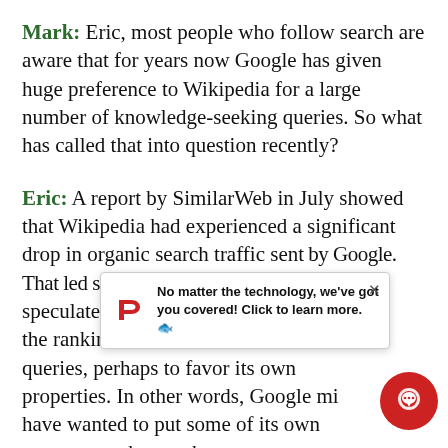Mark: Eric, most people who follow search are aware that for years now Google has given huge preference to Wikipedia for a large number of knowledge-seeking queries. So what has called that into question recently?
Eric: A report by SimilarWeb in July showed that Wikipedia had experienced a significant drop in organic search traffic sent by Google. That led some to speculate [popup overlay] the ranking [popup overlay] queries, perhaps to favor its own properties. In other words, Google mi[chat button] have wanted to put some of its own sources out there as better answers to
[Figure (infographic): Popup notification overlay with 'P' logo icon in red and text: 'No matter the technology, we've got you covered! Click to learn more.' with a close X button]
[Figure (infographic): Red circular chat button with speech bubble icon in bottom right corner]